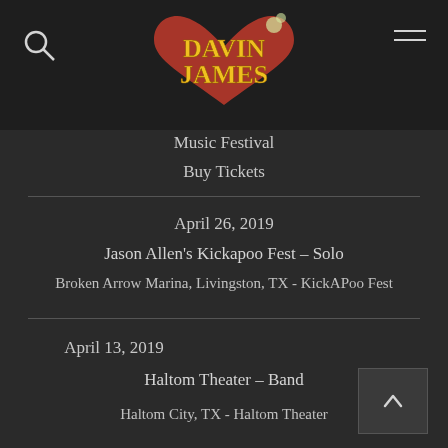[Figure (logo): Davin James logo with stylized text in yellow/red on dark background with floral decoration]
Music Festival
Buy Tickets
April 26, 2019
Jason Allen's Kickapoo Fest – Solo
Broken Arrow Marina, Livingston, TX - KickAPoo Fest
April 13, 2019
Haltom Theater – Band
Haltom City, TX - Haltom Theater